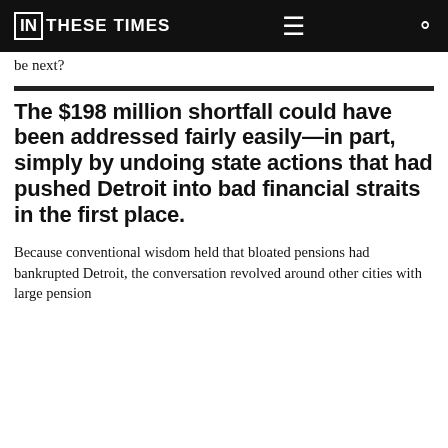IN THESE TIMES
be next?
The $198 million shortfall could have been addressed fairly easily—in part, simply by undoing state actions that had pushed Detroit into bad financial straits in the first place.
Because conventional wisdom held that bloated pensions had bankrupted Detroit, the conversation revolved around other cities with large pension